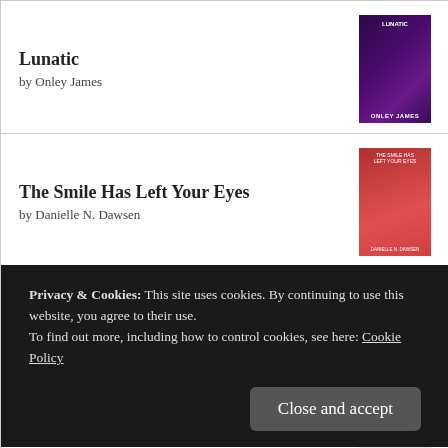Lunatic by Onley James
The Smile Has Left Your Eyes by Danielle N. Dawsen
The Raven King by Nora Sakavic
Before the Coffee Gets Cold #1 by Toshikazu Kawaguchi
Privacy & Cookies: This site uses cookies. By continuing to use this website, you agree to their use.
To find out more, including how to control cookies, see here: Cookie Policy
Close and accept